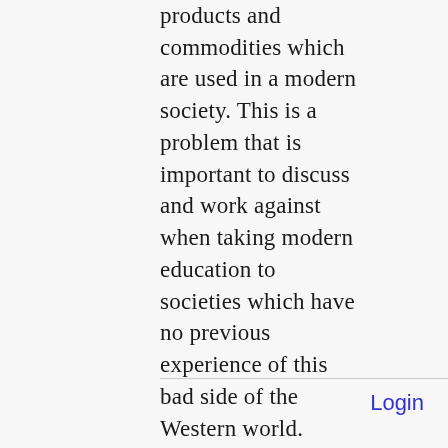products and commodities which are used in a modern society. This is a problem that is important to discuss and work against when taking modern education to societies which have no previous experience of this bad side of the Western world.
Login